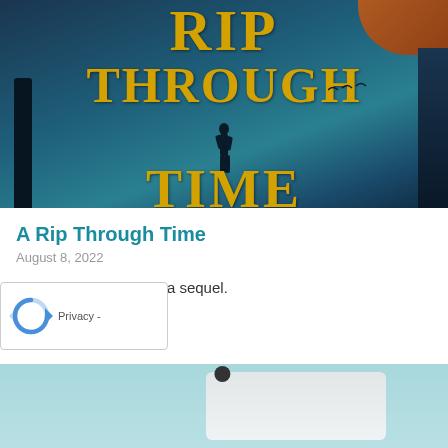[Figure (photo): Book cover of 'A Rip Through Time' showing golden serif text on a dark teal/blue atmospheric background with a silhouetted figure and trees]
A Rip Through Time
August 8, 2022
I do hope there will be a sequel.
Read More »
[Figure (screenshot): reCAPTCHA widget showing the circular arrow logo and Privacy label at bottom left of page]
[Figure (photo): Partial view of next article image with light teal/grey background, cropped at bottom of page]